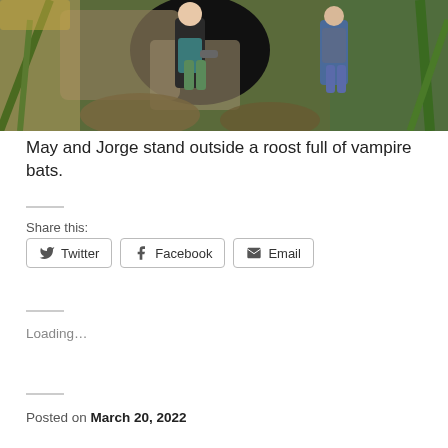[Figure (photo): Two people standing outside a cave entrance surrounded by rocks and tropical vegetation. One person is wearing a teal/black outfit and holding a flashlight, the other is partially visible in plaid shirt and jeans.]
May and Jorge stand outside a roost full of vampire bats.
Share this:
Twitter  Facebook  Email
Loading...
Posted on March 20, 2022